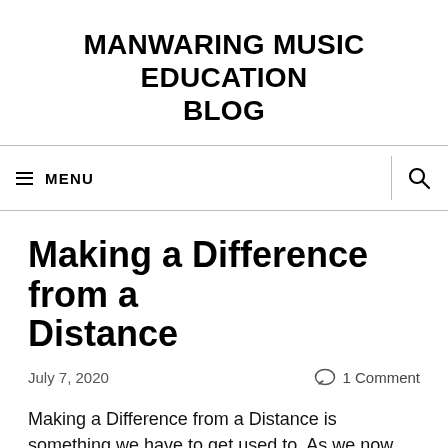MANWARING MUSIC EDUCATION BLOG
≡ MENU
Making a Difference from a Distance
July 7, 2020   1 Comment
Making a Difference from a Distance is something we have to get used to. As we now reach the end of term, we look back on weeks of distance learning. So what have we learnt from this season that can take us into